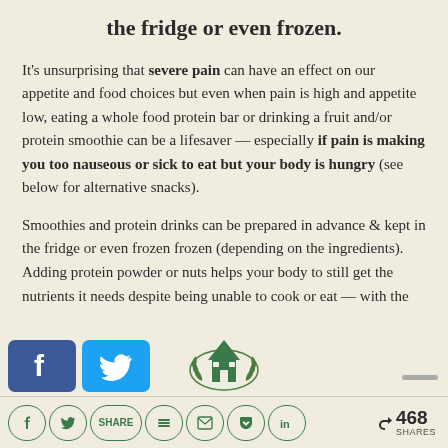the fridge or even frozen.
It's unsurprising that severe pain can have an effect on our appetite and food choices but even when pain is high and appetite low, eating a whole food protein bar or drinking a fruit and/or protein smoothie can be a lifesaver — especially if pain is making you too nauseous or sick to eat but your body is hungry (see below for alternative snacks).
Smoothies and protein drinks can be prepared in advance & kept in the fridge or even frozen frozen (depending on the ingredients). Adding protein powder or nuts helps your body to still get the nutrients it needs despite being unable to cook or eat — with the
[Figure (logo): Facebook and Twitter share buttons overlay]
[Figure (logo): House logo with laurel wreath, green icon]
Social share icons bar with Facebook, Twitter, Share, Buffer, Email, Pocket, LinkedIn buttons and share count of 468 SHARES